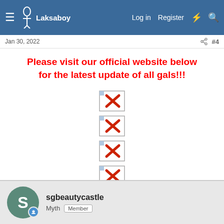Laksaboy | Log in | Register
Jan 30, 2022  #4
Please visit our official website below for the latest update of all gals!!!
[Figure (other): Four broken image placeholders (image not found icons with red X)]
sgbeautycastle
Myth  Member